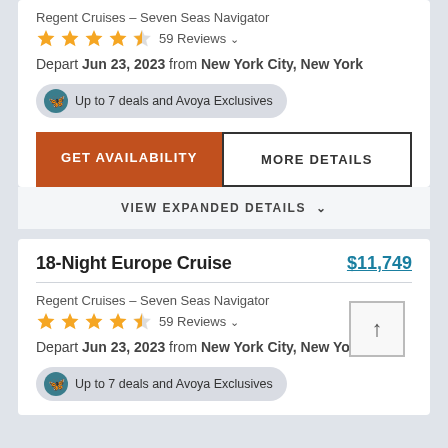Regent Cruises – Seven Seas Navigator
4.5 stars · 59 Reviews
Depart Jun 23, 2023 from New York City, New York
Up to 7 deals and Avoya Exclusives
GET AVAILABILITY
MORE DETAILS
VIEW EXPANDED DETAILS
18-Night Europe Cruise
$11,749
Regent Cruises – Seven Seas Navigator
4.5 stars · 59 Reviews
Depart Jun 23, 2023 from New York City, New York
Up to 7 deals and Avoya Exclusives